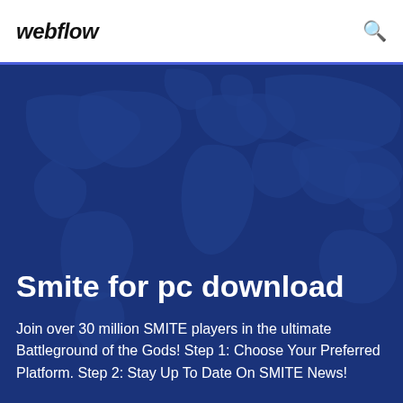webflow
[Figure (illustration): Dark blue world map background illustration with lighter blue continent outlines on a dark navy background]
Smite for pc download
Join over 30 million SMITE players in the ultimate Battleground of the Gods! Step 1: Choose Your Preferred Platform. Step 2: Stay Up To Date On SMITE News!